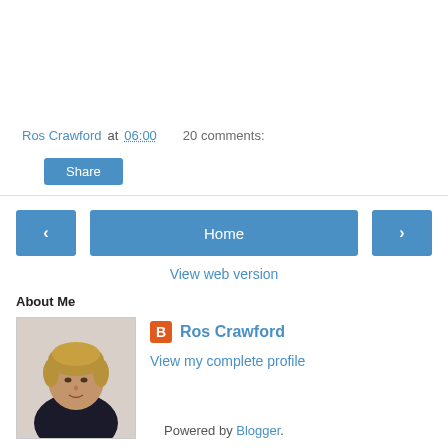Ros Crawford at 06:00   20 comments:
Share
‹   Home   ›
View web version
About Me
[Figure (photo): Profile photo of Ros Crawford, a woman with short blonde hair]
Ros Crawford
View my complete profile
Powered by Blogger.